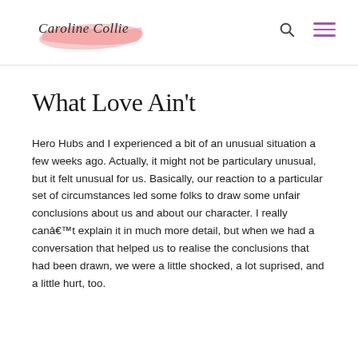Caroline Collie
What Love Ain't
Hero Hubs and I experienced a bit of an unusual situation a few weeks ago. Actually, it might not be particulary unusual, but it felt unusual for us. Basically, our reaction to a particular set of circumstances led some folks to draw some unfair conclusions about us and about our character. I really canâ€™t explain it in much more detail, but when we had a conversation that helped us to realise the conclusions that had been drawn, we were a little shocked, a lot suprised, and a little hurt, too.